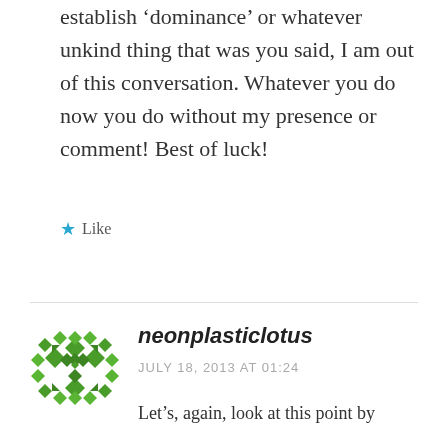establish ‘dominance’ or whatever unkind thing that was you said, I am out of this conversation. Whatever you do now you do without my presence or comment! Best of luck!
★ Like
neonplasticlotus
JULY 18, 2013 AT 01:24
Let’s, again, look at this point by